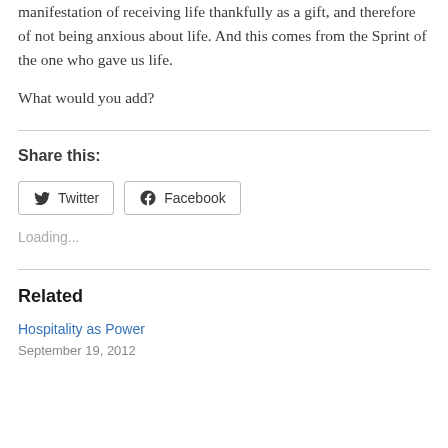manifestation of receiving life thankfully as a gift, and therefore of not being anxious about life. And this comes from the Sprint of the one who gave us life.
What would you add?
Share this:
Loading...
Related
Hospitality as Power
September 19, 2012